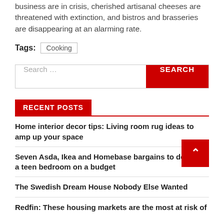business are in crisis, cherished artisanal cheeses are threatened with extinction, and bistros and brasseries are disappearing at an alarming rate.
Tags: Cooking
[Figure (other): Search bar with text input placeholder 'Search ...' and a red SEARCH button]
RECENT POSTS
Home interior decor tips: Living room rug ideas to amp up your space
Seven Asda, Ikea and Homebase bargains to decorate a teen bedroom on a budget
The Swedish Dream House Nobody Else Wanted
Redfin: These housing markets are the most at risk of